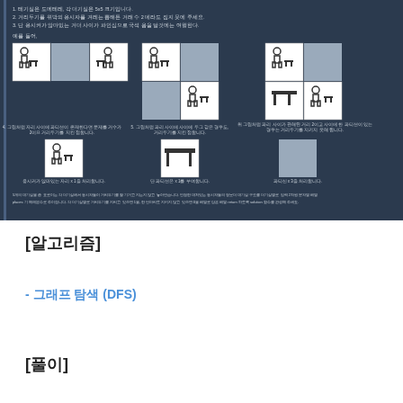[Figure (illustration): Dark blue panel showing a Korean algorithm/DFS problem with seating arrangement icons. Contains numbered instructions, example diagrams with person and table icons, and explanatory captions in Korean.]
[알고리즘]
- 그래프 탐색 (DFS)
[풀이]